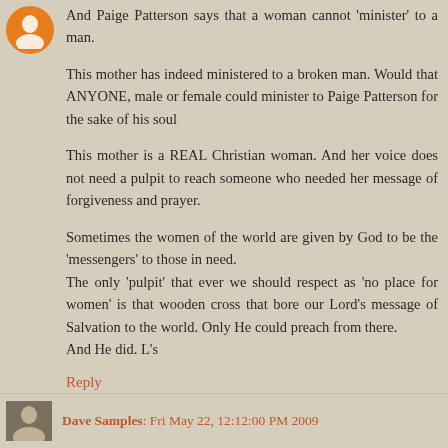[Figure (other): Orange circle avatar icon in top left corner]
And Paige Patterson says that a woman cannot 'minister' to a man.

This mother has indeed ministered to a broken man. Would that ANYONE, male or female could minister to Paige Patterson for the sake of his soul

This mother is a REAL Christian woman. And her voice does not need a pulpit to reach someone who needed her message of forgiveness and prayer.

Sometimes the women of the world are given by God to be the 'messengers' to those in need.
The only 'pulpit' that ever we should respect as 'no place for women' is that wooden cross that bore our Lord's message of Salvation to the world. Only He could preach from there.
And He did. L's
Reply
Dave Samples: Fri May 22, 12:12:00 PM 2009